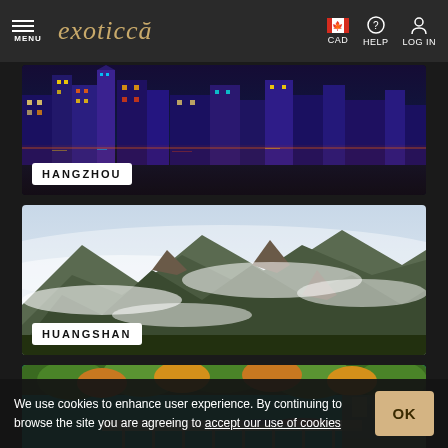MENU | exoticca | CAD | HELP | LOG IN
[Figure (photo): Aerial nighttime city view of Hangzhou, China with illuminated skyscrapers and river reflections]
HANGZHOU
[Figure (photo): Misty mountain landscape of Huangshan (Yellow Mountain), China with rocky peaks and clouds]
HUANGSHAN
[Figure (photo): Jiuzhaigou National Park with turquoise lake water, autumn trees and wooden walkways]
JIUZHAIGOU NATIONAL PARK
We use cookies to enhance user experience. By continuing to browse the site you are agreeing to accept our use of cookies